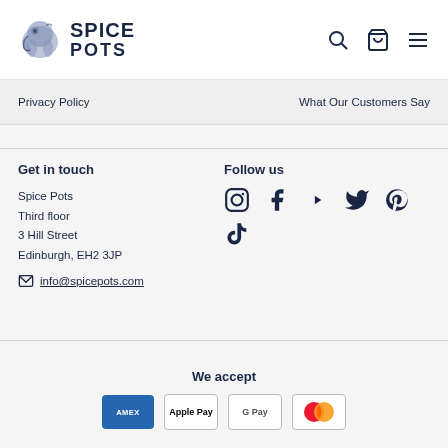SPICE POTS
Privacy Policy
What Our Customers Say
Get in touch
Spice Pots
Third floor
3 Hill Street
Edinburgh, EH2 3JP
info@spicepots.com
Follow us
[Figure (infographic): Social media icons: Instagram, Facebook, YouTube, Twitter, Pinterest, TikTok]
We accept
[Figure (infographic): Payment icons: American Express, Apple Pay, Google Pay, Mastercard]